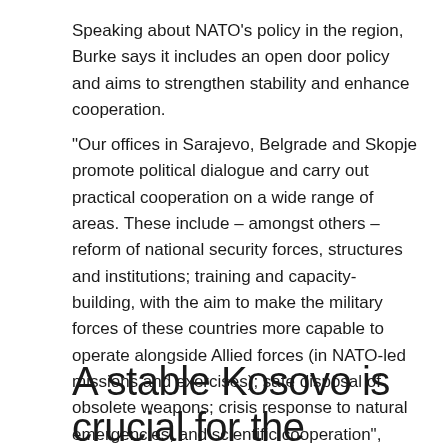Speaking about NATO's policy in the region, Burke says it includes an open door policy and aims to strengthen stability and enhance cooperation.
"Our offices in Sarajevo, Belgrade and Skopje promote political dialogue and carry out practical cooperation on a wide range of areas. These include – amongst others – reform of national security forces, structures and institutions; training and capacity-building, with the aim to make the military forces of these countries more capable to operate alongside Allied forces (in NATO-led missions and exercises); safe disposal of obsolete weapons; crisis response to natural emergencies; and scientific cooperation",  Burke points out.
A stable Kosovo is crucial for the stability and security of the region